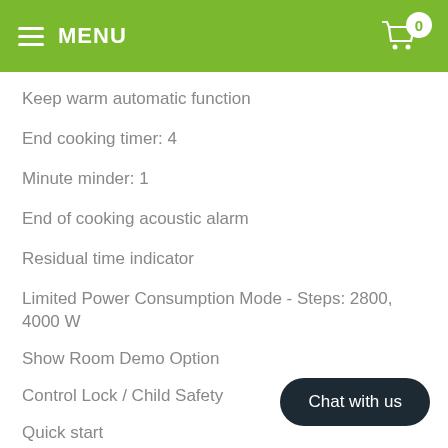MENU
Keep warm automatic function
End cooking timer: 4
Minute minder: 1
End of cooking acoustic alarm
Residual time indicator
Limited Power Consumption Mode - Steps: 2800, 4000 W
Show Room Demo Option
Control Lock / Child Safety
Quick start
Chat with us